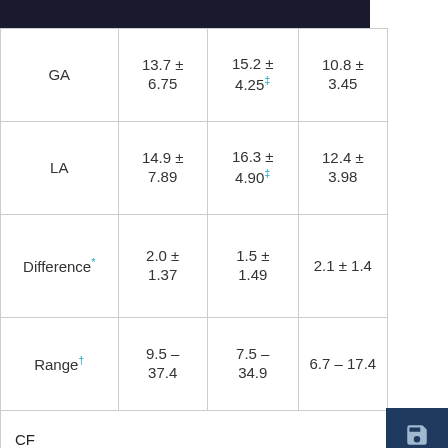|  | Col1 | Col2 | Col3 |
| --- | --- | --- | --- |
| GA | 13.7 ± 6.75 | 15.2 ± 4.25‡ | 10.8 ± 3.45 |
| LA | 14.9 ± 7.89 | 16.3 ± 4.90‡ | 12.4 ± 3.98 |
| Difference* | 2.0 ± 1.37 | 1.5 ± 1.49 | 2.1 ± 1.4 |
| Range† | 9.5 – 37.4 | 7.5 – 34.9 | 6.7 – 17.4 |
| CF |  |  |  |
| GA | 5.9 ± 2.26 | 5.6 ± 3.01 | 8.8 ± 5.5 |